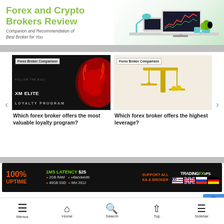Forex and Crypto Brokers Review — Comparion and Recommendation of Best Broker for You
[Figure (illustration): Header illustration with desk, lamp, tablet and monitor showing trading chart]
[Figure (photo): XM Elite Loyalty Program card image with bull graphic on dark background]
Which forex broker offers the most valuable loyalty program?
[Figure (photo): Gold scale/balance image for leverage comparison article]
Which forex broker offers the highest leverage?
[Figure (infographic): TradingFX VPS advertisement banner: 100% UPTIME, 1MS LATENCY $25, 2GB RAM, Bandwidth, 40GB SSD, Win 2012, SUPPORT ALL EA & BROKER, with country flags]
Titan FX – Forex Broker Review in 20…
Menus  Home  Search  Top  Sidebar